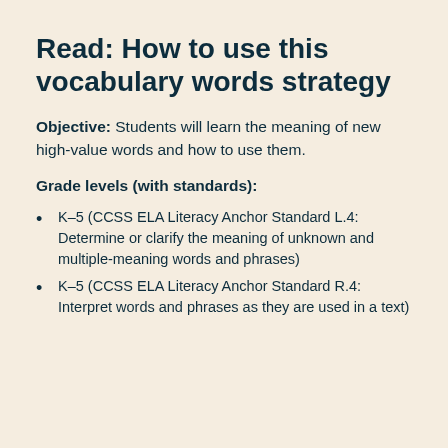Read: How to use this vocabulary words strategy
Objective: Students will learn the meaning of new high-value words and how to use them.
Grade levels (with standards):
K–5 (CCSS ELA Literacy Anchor Standard L.4: Determine or clarify the meaning of unknown and multiple-meaning words and phrases)
K–5 (CCSS ELA Literacy Anchor Standard R.4: Interpret words and phrases as they are used in a text)